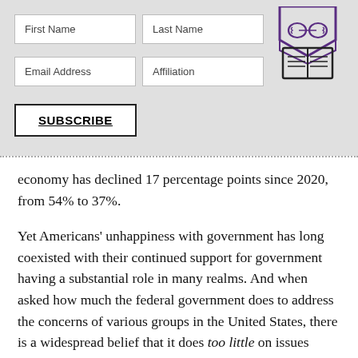[Figure (illustration): Purple brain-in-house/book icon logo in top right corner of subscription form area]
First Name	Last Name
Email Address	Affiliation
SUBSCRIBE
economy has declined 17 percentage points since 2020, from 54% to 37%.
Yet Americans' unhappiness with government has long coexisted with their continued support for government having a substantial role in many realms. And when asked how much the federal government does to address the concerns of various groups in the United States, there is a widespread belief that it does too little on issues affecting many of the groups asked about, including middle-income people (69%), those with lower incomes (66%) and retired